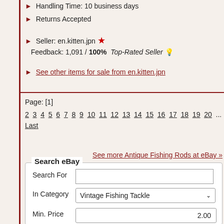Handling Time: 10 business days
Returns Accepted
Seller: en.kitten.jpn ★ Feedback: 1,091 / 100% Top-Rated Seller 💡
See other items for sale from en.kitten.jpn
Page: [1]
2 3 4 5 6 7 8 9 10 11 12 13 14 15 16 17 18 19 20 ... Last
See more Antique Fishing Rods at eBay »
Search eBay
Search For
In Category   Vintage Fishing Tackle
Min. Price   2.00